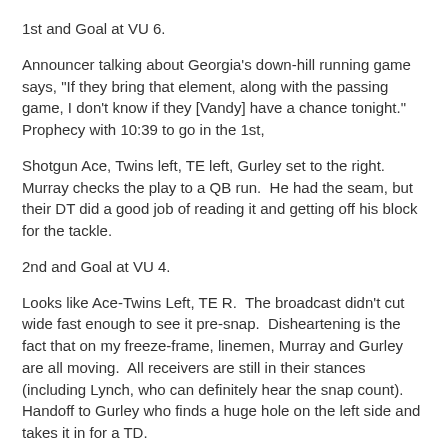1st and Goal at VU 6.
Announcer talking about Georgia's down-hill running game says, "If they bring that element, along with the passing game, I don't know if they [Vandy] have a chance tonight."  Prophecy with 10:39 to go in the 1st,
Shotgun Ace, Twins left, TE left, Gurley set to the right.  Murray checks the play to a QB run.  He had the seam, but their DT did a good job of reading it and getting off his block for the tackle.
2nd and Goal at VU 4.
Looks like Ace-Twins Left, TE R.  The broadcast didn't cut wide fast enough to see it pre-snap.  Disheartening is the fact that on my freeze-frame, linemen, Murray and Gurley are all moving.  All receivers are still in their stances (including Lynch, who can definitely hear the snap count).  Handoff to Gurley who finds a huge hole on the left side and takes it in for a TD.